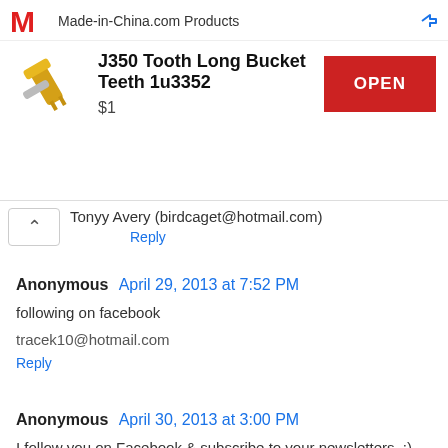[Figure (screenshot): Advertisement banner for Made-in-China.com Products showing J350 Tooth Long Bucket Teeth 1u3352 priced at $1 with an OPEN button]
Tonyy Avery (birdcaget@hotmail.com)
Reply
Anonymous April 29, 2013 at 7:52 PM
following on facebook
tracek10@hotmail.com
Reply
Anonymous April 30, 2013 at 3:00 PM
I follow you on Facebook & subscribe to your newsletters. :)
Mandy A